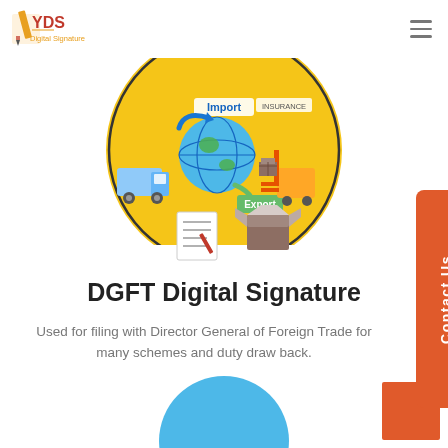[Figure (logo): YDS Digital Signature logo — pencil icon with YDS text and 'Digital Signature' subtitle in orange/gold]
[Figure (illustration): Circular import/export infographic on yellow/gold background showing globe, truck, forklift with boxes, documents, blue arrows with 'Import' and green arrow with 'Export' labels, INSURANCE label visible]
DGFT Digital Signature
Used for filing with Director General of Foreign Trade for many schemes and duty draw back.
→ Read more